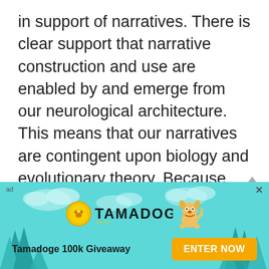in support of narratives. There is clear support that narrative construction and use are enabled by and emerge from our neurological architecture. This means that our narratives are contingent upon biology and evolutionary theory. Because narratives also facilitate complex socialization, the foundational narratives that serve as the keystone, cornerstone, or bedrock of any society also make all narratives that emerge out of those
[Figure (infographic): Advertisement banner for Tamadoge 100k Giveaway. Teal/cyan background with cloud and tree silhouettes. Shows Tamadoge logo (gold coin with dog face) and a cartoon dog character. Text: 'TAMADOGE' and 'Tamadoge 100k Giveaway'. Yellow 'ENTER NOW' button. 'ad' label top-left, 'x' close button top-right.]